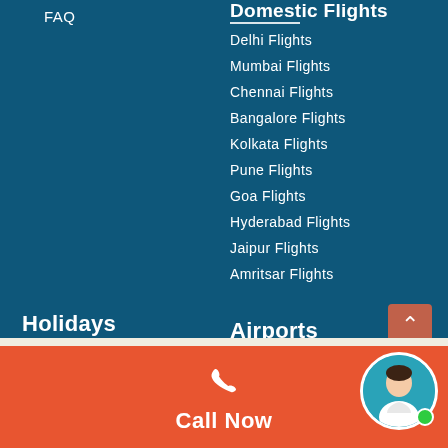FAQ
Domestic Flights
Delhi Flights
Mumbai Flights
Chennai Flights
Bangalore Flights
Kolkata Flights
Pune Flights
Goa Flights
Hyderabad Flights
Jaipur Flights
Amritsar Flights
Holidays
Tourism
Airports
Airports
Call Now